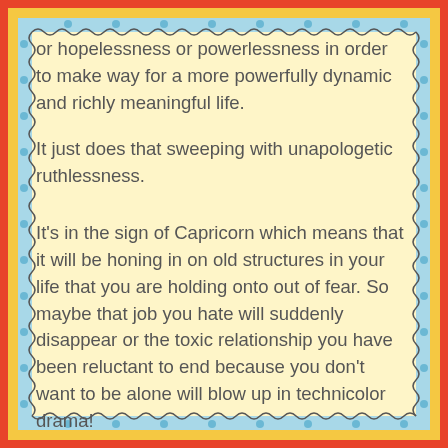or hopelessness or powerlessness in order to make way for a more powerfully dynamic and richly meaningful life.
It just does that sweeping with unapologetic ruthlessness.
It's in the sign of Capricorn which means that it will be honing in on old structures in your life that you are holding onto out of fear. So maybe that job you hate will suddenly disappear or the toxic relationship you have been reluctant to end because you don't want to be alone will blow up in technicolor drama!